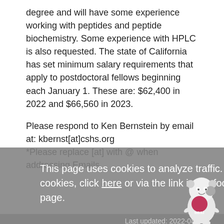degree and will have some experience working with peptides and peptide biochemistry. Some experience with HPLC is also requested. The state of California has set minimum salary requirements that apply to postdoctoral fellows beginning each January 1. These are: $62,400 in 2022 and $66,560 in 2023.
Please respond to Ken Bernstein by email at: kbernst[at]cshs.org
*Please replace [at] with @ when addressing Emails
This page uses cookies to analyze traffic. To manage cookies, click here or via the link in the footer on each page.
Last updated: 2022-08-23
Revision records (Japanese)
Manage Google Analytics
Close
© 1999-2022 The Molecular Biology Society of Japan. All rights reserved.